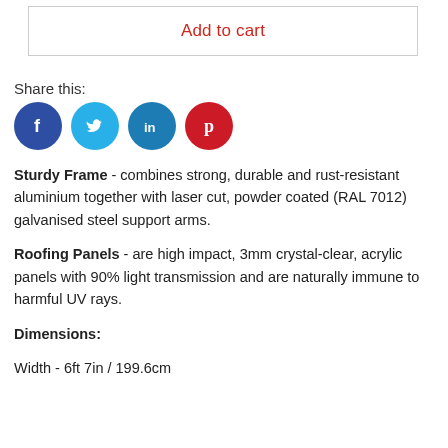Add to cart
Share this:
[Figure (illustration): Social media share icons: Facebook (blue circle with f), Twitter (light blue circle with bird), LinkedIn (teal circle with in), Pinterest (red circle with P)]
Sturdy Frame - combines strong, durable and rust-resistant aluminium together with laser cut, powder coated (RAL 7012) galvanised steel support arms.
Roofing Panels - are high impact, 3mm crystal-clear, acrylic panels with 90% light transmission and are naturally immune to harmful UV rays.
Dimensions:
Width - 6ft 7in / 199.6cm